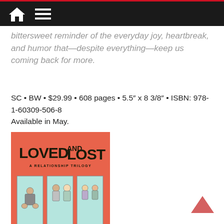Navigation header with home and menu icons
bittersweet reminder of the everyday joy, heartbreak, and humor that—despite everything—keep us coming back for more.
SC • BW • $29.99 • 608 pages • 5.5″ x 8 3/8″ • ISBN: 978-1-60309-506-8
Available in May.
[Figure (illustration): Book cover for 'Loved and Lost: A Relationship Trilogy' — orange/coral background with large bold title text and three comic panel illustrations at the bottom labeled Clumsy, Unlikely, and Ant and Ant Perhaps]